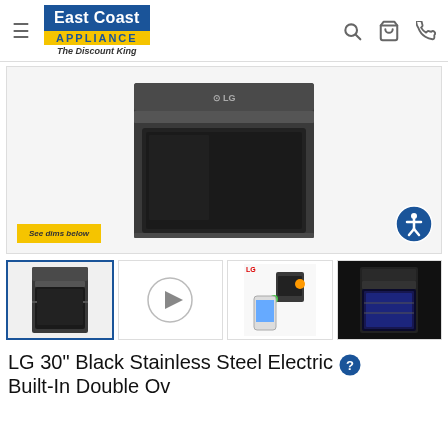East Coast Appliance - The Discount King
[Figure (photo): LG Black Stainless Steel built-in oven, front view, dark finish with glass door visible]
See dims below
[Figure (photo): Thumbnail 1: LG Black Stainless Steel double wall oven product thumbnail (active/selected)]
[Figure (photo): Thumbnail 2: Video play button thumbnail]
[Figure (photo): Thumbnail 3: LG ThinQ app smart control feature image]
[Figure (photo): Thumbnail 4: LG oven interior with blue light]
LG 30" Black Stainless Steel Electric Built-In Double Ov...